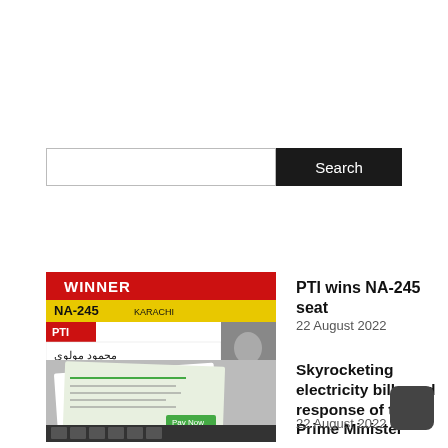[Figure (screenshot): Search bar with black Search button on right]
[Figure (screenshot): PTI wins NA-245 seat winner board showing NA-245 KARACHI, PTI, Mahmood Maulvi, 29,475 votes]
PTI wins NA-245 seat
22 August 2022
[Figure (photo): Photo of electricity bills on a table]
Skyrocketing electricity bills and response of the Prime Minister
22 August 2022